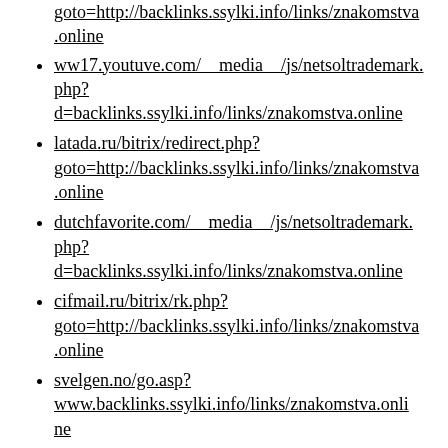goto=http://backlinks.ssylki.info/links/znakomstva.online
ww17.youtuve.com/__media__/js/netsoltrademark.php?d=backlinks.ssylki.info/links/znakomstva.online
latada.ru/bitrix/redirect.php?goto=http://backlinks.ssylki.info/links/znakomstva.online
dutchfavorite.com/__media__/js/netsoltrademark.php?d=backlinks.ssylki.info/links/znakomstva.online
cifmail.ru/bitrix/rk.php?goto=http://backlinks.ssylki.info/links/znakomstva.online
svelgen.no/go.asp?www.backlinks.ssylki.info/links/znakomstva.online
www.badgerplugcompany.com/__media__/js/netsoltrademark.php?